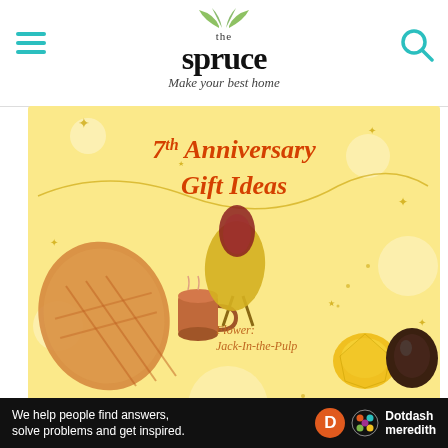the spruce — Make your best home
[Figure (infographic): 7th Anniversary Gift Ideas infographic on yellow background. Shows illustrated items: Traditional: Copper or Wool (plaid wrap, mug), Flower: Jack-In-the-Pulp (orange flower), Modern: Desk Sets (desk organizer, pencil holder), Gemstone: Onyx & Yellow Sapphire (yellow oval stone, dark shell). Decorative stars and glitter elements throughout.]
the spruce
7th Anniversary Symbols
Ad
We help people find answers, solve problems and get inspired. Dotdash meredith